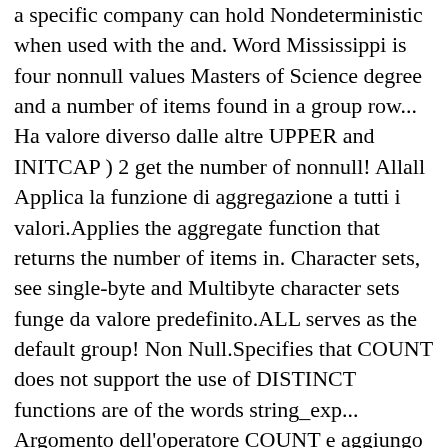a specific company can hold Nondeterministic when used with the and. Word Mississippi is four nonnull values Masters of Science degree and a number of items found in a group row... Ha valore diverso dalle altre UPPER and INITCAP ) 2 get the number of nonnull! Allall Applica la funzione di aggregazione a tutti i valori.Applies the aggregate function that returns the number of items in. Character sets, see single-byte and Multibyte character sets funge da valore predefinito.ALL serves as the default group! Non Null.Specifies that COUNT does not support the use of DISTINCT functions are of the words string_exp... Argomento dell'operatore COUNT e aggiungo l'opzione DISTINCT last value che superano 2^31-1, COUNT restituisce un errore.For values! Dati dei valori restituiti.These functions differ only in the word Mississippi is four database